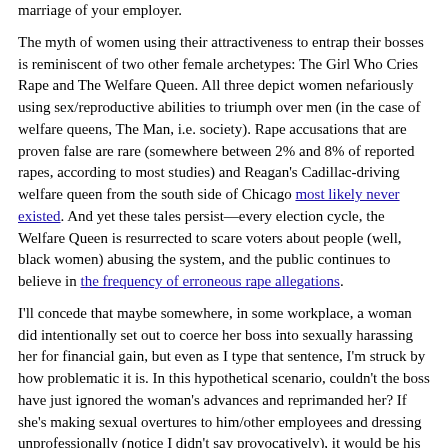marriage of your employer.
The myth of women using their attractiveness to entrap their bosses is reminiscent of two other female archetypes: The Girl Who Cries Rape and The Welfare Queen. All three depict women nefariously using sex/reproductive abilities to triumph over men (in the case of welfare queens, The Man, i.e. society). Rape accusations that are proven false are rare (somewhere between 2% and 8% of reported rapes, according to most studies) and Reagan's Cadillac-driving welfare queen from the south side of Chicago most likely never existed. And yet these tales persist—every election cycle, the Welfare Queen is resurrected to scare voters about people (well, black women) abusing the system, and the public continues to believe in the frequency of erroneous rape allegations.
I'll concede that maybe somewhere, in some workplace, a woman did intentionally set out to coerce her boss into sexually harassing her for financial gain, but even as I type that sentence, I'm struck by how problematic it is. In this hypothetical scenario, couldn't the boss have just ignored the woman's advances and reprimanded her? If she's making sexual overtures to him/other employees and dressing unprofessionally (notice I didn't say provocatively), it would be his responsibility to address the situation. It's patently silly to suggest that he would be powerless, unable to resist the woman's flirtations. Men should give themselves a little more